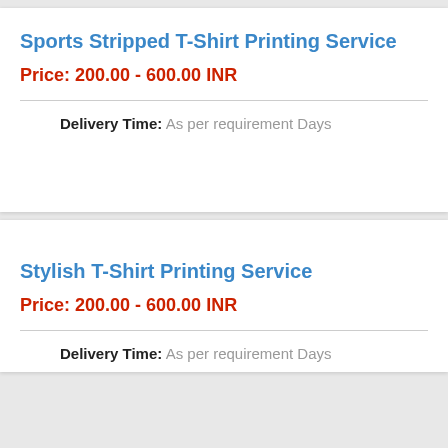Sports Stripped T-Shirt Printing Service
Price: 200.00 - 600.00 INR
Delivery Time: As per requirement Days
Stylish T-Shirt Printing Service
Price: 200.00 - 600.00 INR
Delivery Time: As per requirement Days